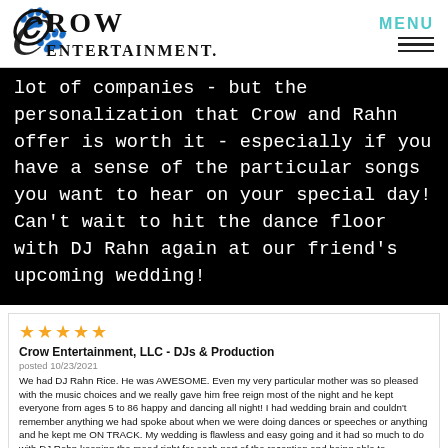Crow Entertainment
lot of companies - but the personalization that Crow and Rahn offer is worth it - especially if you have a sense of the particular songs you want to hear on your special day! Can't wait to hit the dance floor with DJ Rahn again at our friend's upcoming wedding!
★★★★★
Crow Entertainment, LLC - DJs & Production
posted 10/23/2021
We had DJ Rahn Rice. He was AWESOME. Even my very particular mother was so pleased with the music choices and we really gave him free reign most of the night and he kept everyone from ages 5 to 86 happy and dancing all night! I had wedding brain and couldn't remember anything we had spoke about when we were doing dances or speeches or anything and he kept me ON TRACK. My wedding is flawless and easy going and it had so much to do with DJ Rahn keeping the mood right for each part of the reception and being able to accommodate video and livestreaming audio for friends in Australia. It wasn't easy! Thank you Rahn and Crow Entertainment!